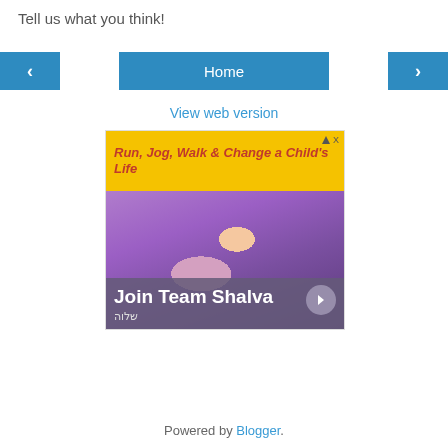Tell us what you think!
< Home >
View web version
[Figure (screenshot): Advertisement for 'Join Team Shalva' running event. Yellow top banner reads 'Run, Jog, Walk & Change a Child's Life' in red text. Below is a photo of runners in purple shirts, with a woman wearing headphones in the center. Bottom overlay shows 'Join Team Shalva' in white bold text with Hebrew text 'שלוה' below. An arrow button is on the right.]
Powered by Blogger.